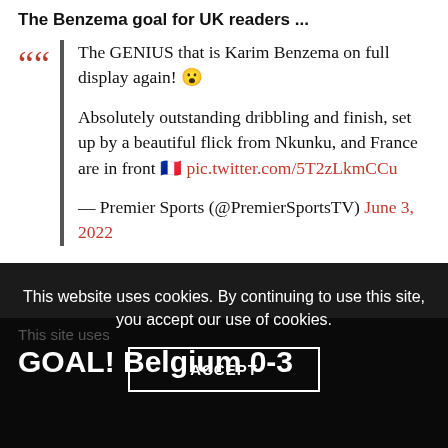The Benzema goal for UK readers ...
The GENIUS that is Karim Benzema on full display again! 😮

Absolutely outstanding dribbling and finish, set up by a beautiful flick from Nkunku, and France are in front 🇫🇷 pic.twitter.com/5T2zLkmCCu

— Premier Sports (@PremierSportsTV) June 3, 2022
This website uses cookies. By continuing to use this site, you accept our use of cookies.